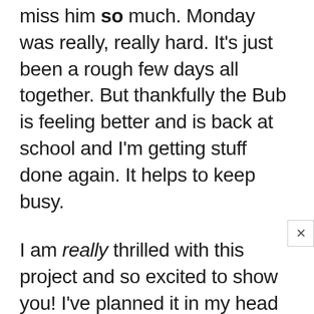miss him so much. Monday was really, really hard. It's just been a rough few days all together. But thankfully the Bub is feeling better and is back at school and I'm getting stuff done again. It helps to keep busy.
I am really thrilled with this project and so excited to show you! I've planned it in my head for some time now and it came out even better than I had hoped. I've been working on a few projects completed with the help of Minwax products over the past couple of months